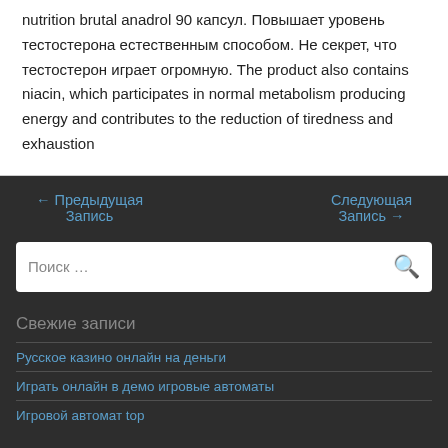nutrition brutal anadrol 90 капсул. Повышает уровень тестостерона естественным способом. Не секрет, что тестостерон играет огромную. The product also contains niacin, which participates in normal metabolism producing energy and contributes to the reduction of tiredness and exhaustion
← Предыдущая Запись
Следующая Запись →
Поиск …
Свежие записи
Русское казино онлайн на деньги
Играть онлайн в демо игровые автоматы
Игровой автомат top